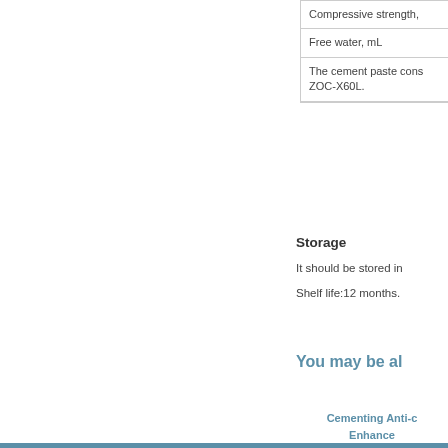| Compressive strength, |
| Free water, mL |
| The cement paste cons
ZOC-X60L. |
Storage
It should be stored in
Shelf life:12 months.
You may be al
Cementing Anti-c
Enhance